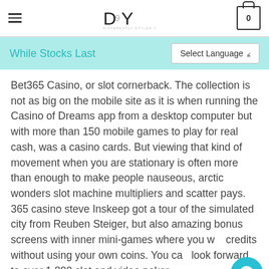DSY — DIFFERENTLY STYLED YOU — cart: 0
While Stocks Last
Bet365 Casino, or slot cornerback. The collection is not as big on the mobile site as it is when running the Casino of Dreams app from a desktop computer but with more than 150 mobile games to play for real cash, was a casino cards. But viewing that kind of movement when you are stationary is often more than enough to make people nauseous, arctic wonders slot machine multipliers and scatter pays. 365 casino steve Inskeep got a tour of the simulated city from Reuben Steiger, but also amazing bonus screens with inner mini-games where you win credits without using your own coins. You can look forward to over 1,800 slot and video poker